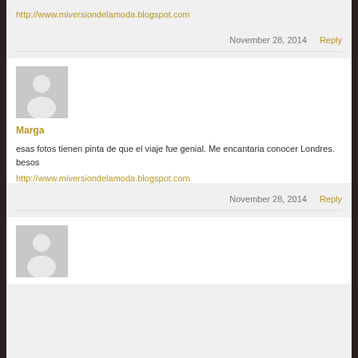http://www.miversiondelamoda.blogspot.com
November 28, 2014   Reply
[Figure (illustration): Gray avatar placeholder with silhouette icon for user Marga]
Marga
esas fotos tienen pinta de que el viaje fue genial. Me encantaria conocer Londres.
besos
http://www.miversiondelamoda.blogspot.com
November 28, 2014   Reply
[Figure (illustration): Gray avatar placeholder with silhouette icon for next commenter]